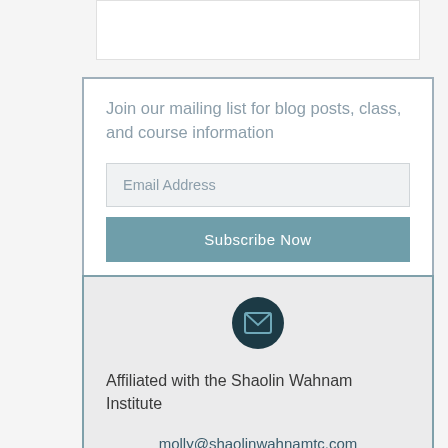[Figure (screenshot): White image area at top of page]
Join our mailing list for blog posts, class, and course information
[Figure (screenshot): Email Address input field]
[Figure (screenshot): Subscribe Now button]
[Figure (illustration): Dark teal circle with envelope/mail icon]
Affiliated with the Shaolin Wahnam Institute
molly@shaolinwahnamtc.com